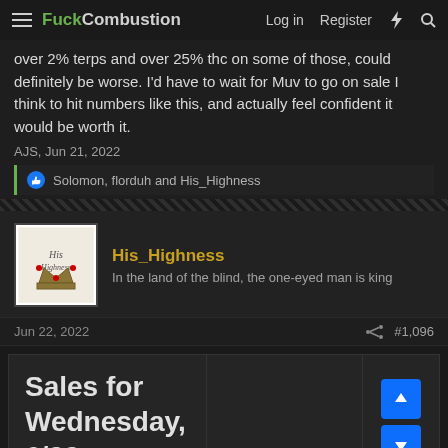FuckCombustion — Log in  Register
over 2% terps and over 25% thc on some of those, could definitely be worse. I'd have to wait for Muv to go on sale I think to hit numbers like this, and actually feel confident it would be worth it.
AJS, Jun 21, 2022
Solomon, florduh and His_Highness
His_Highness
In the land of the blind, the one-eyed man is king
Jun 22, 2022   #1,096
Sales for Wednesday, 6/22